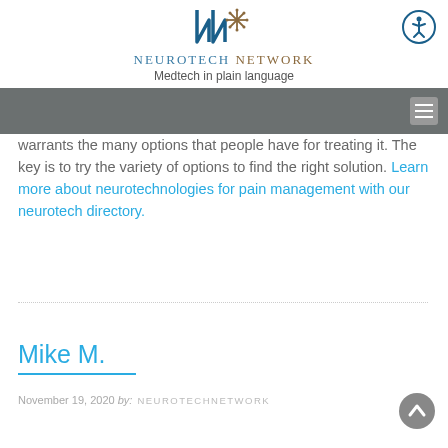Neurotech Network — Medtech in plain language
warrants the many options that people have for treating it. The key is to try the variety of options to find the right solution. Learn more about neurotechnologies for pain management with our neurotech directory.
Mike M.
November 19, 2020 by: NEUROTECHNETWORK